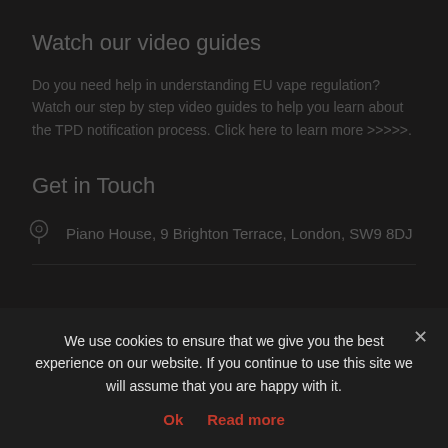Watch our video guides
Do you need help in understanding EU vape regulation? Watch our step by step video guides to help you learn about the TPD notification process. Click here to learn more >>>>>.
Get in Touch
Piano House, 9 Brighton Terrace, London, SW9 8DJ
All rights reserved. Copyright © 2021 Made for Limited. Company No. 07415629 VAT GB353833294
We use cookies to ensure that we give you the best experience on our website. If you continue to use this site we will assume that you are happy with it.